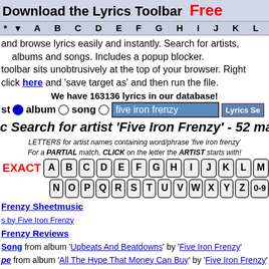Download the Lyrics Toolbar  Free
* A B C D E F G H I J K L M N O P Q R S T U V W X
and browse lyrics easily and instantly. Search for artists, albums and songs. Includes a popup blocker. toolbar sits unobtrusively at the top of your browser. Right click here and 'save target as' and then run the file.
We have 163136 lyrics in our database!
st  album  song  five iron frenzy  Lyrics Se...
c Search for artist 'Five Iron Frenzy' - 52 ma
LETTERS for artist names containing word/phrase 'five iron frenzy'
For a PARTIAL match, CLICK on the letter the ARTIST starts with!
EXACT A B C D E F G H I J K L M N O P Q R S T U V W X Y Z 0-9
Frenzy Sheetmusic
s by Five Iron Frenzy
Frenzy Reviews
Song from album 'Upbeats And Beatdowns' by 'Five Iron Frenzy'
pe from album 'All The Hype That Money Can Buy' by 'Five Iron Frenzy'
Good from album 'Quantity Is Job 1' by 'Five Iron Frenzy'
ype from album 'All The Hype That Money Can Buy' by 'Five Iron Frenzy'
te from album 'Upbeats And Beatdowns' by 'Five Iron Frenzy'
om album 'Upbeats And Beatdowns' by 'Five Iron Frenzy'
d Willis And Mr Drummond from album 'Upbeats And Beatdowns' by 'Five Iron Frenzy'